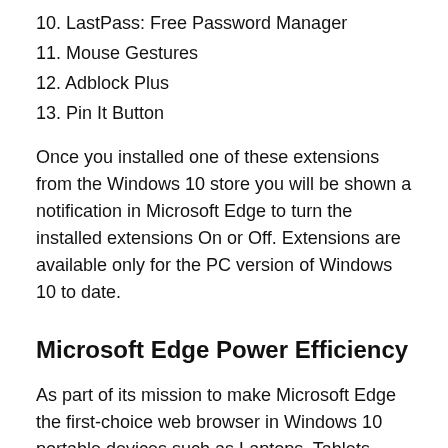10. LastPass: Free Password Manager
11. Mouse Gestures
12. Adblock Plus
13. Pin It Button
Once you installed one of these extensions from the Windows 10 store you will be shown a notification in Microsoft Edge to turn the installed extensions On or Off. Extensions are available only for the PC version of Windows 10 to date.
Microsoft Edge Power Efficiency
As part of its mission to make Microsoft Edge the first-choice web browser in Windows 10 portable devices such as Laptops, Tablets, Phones, Surface Pro, etc., Microsoft has added power-saving improvements in